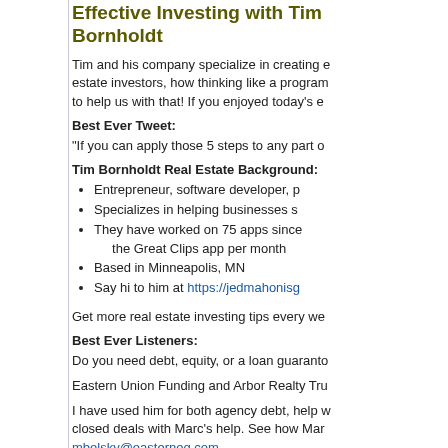Effective Investing with Tim Bornholdt
Tim and his company specialize in creating estate investors, how thinking like a program to help us with that! If you enjoyed today's e
Best Ever Tweet:
“If you can apply those 5 steps to any part o
Tim Bornholdt Real Estate Background:
Entrepreneur, software developer, p
Specializes in helping businesses s
They have worked on 75 apps since the Great Clips app per month
Based in Minneapolis, MN
Say hi to him at https://jedmahonisg
Get more real estate investing tips every we
Best Ever Listeners:
Do you need debt, equity, or a loan guaranto
Eastern Union Funding and Arbor Realty Tru
I have used him for both agency debt, help w closed deals with Marc’s help. See how Mar mbelsky@easterneq.com
Direct download: JF_1552_Tim_Bornholdt.mp3
Category:general -- posted at: 11:21am EDT